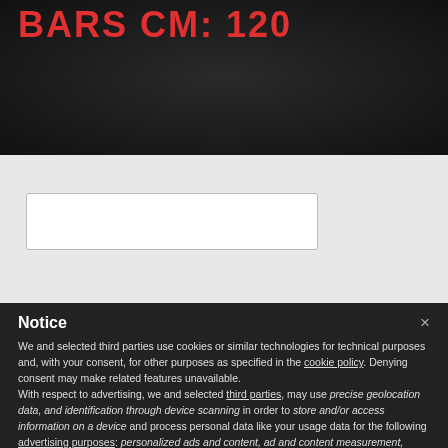bars cm: 120
Notice
×
We and selected third parties use cookies or similar technologies for technical purposes and, with your consent, for other purposes as specified in the cookie policy. Denying consent may make related features unavailable.
With respect to advertising, we and selected third parties, may use precise geolocation data, and identification through device scanning in order to store and/or access information on a device and process personal data like your usage data for the following advertising purposes: personalized ads and content, ad and content measurement, audience insights and product development.
You can freely give, deny, or withdraw your consent at any time by accessing the preferences panel.
Use the "Accept" button or close this notice to consent to the use of such technologies.
Accept
Learn more and customize
Fitting instruction
Download the fitting instructions (PDF file)
Fitting of Link